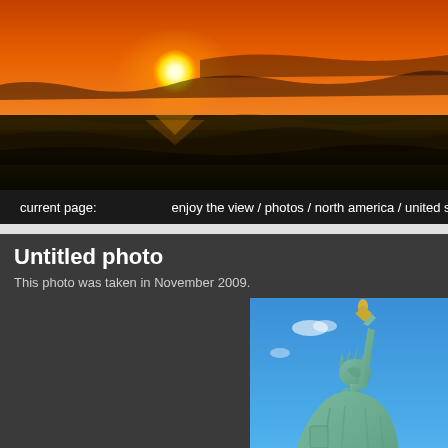[Figure (photo): Sunset over ocean with orange sky and dark waves]
current page:    enjoy the view / photos / north america / united states o
Untitled photo
This photo was taken in November 2009.
[Figure (photo): Statue of Liberty against a bright blue sky, photographed from a low angle showing the torch raised high]